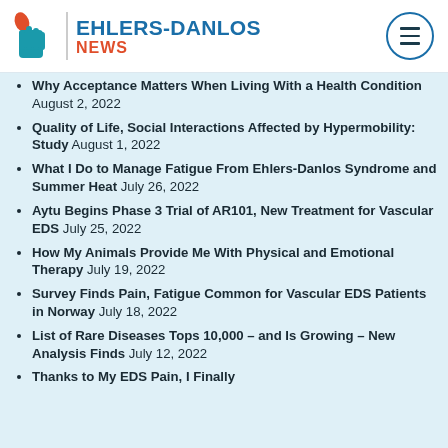EHLERS-DANLOS NEWS
Why Acceptance Matters When Living With a Health Condition August 2, 2022
Quality of Life, Social Interactions Affected by Hypermobility: Study August 1, 2022
What I Do to Manage Fatigue From Ehlers-Danlos Syndrome and Summer Heat July 26, 2022
Aytu Begins Phase 3 Trial of AR101, New Treatment for Vascular EDS July 25, 2022
How My Animals Provide Me With Physical and Emotional Therapy July 19, 2022
Survey Finds Pain, Fatigue Common for Vascular EDS Patients in Norway July 18, 2022
List of Rare Diseases Tops 10,000 – and Is Growing – New Analysis Finds July 12, 2022
Thanks to My EDS Pain, I Finally…